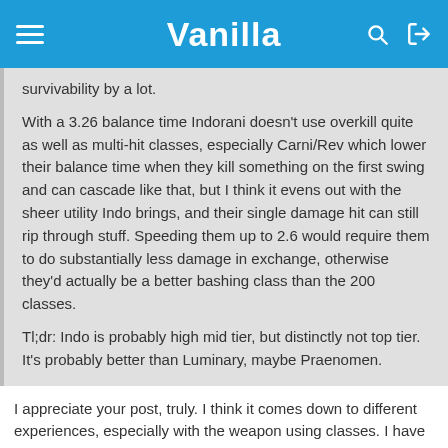Vanilla
survivability by a lot.

With a 3.26 balance time Indorani doesn't use overkill quite as well as multi-hit classes, especially Carni/Rev which lower their balance time when they kill something on the first swing and can cascade like that, but I think it evens out with the sheer utility Indo brings, and their single damage hit can still rip through stuff. Speeding them up to 2.6 would require them to do substantially less damage in exchange, otherwise they'd actually be a better bashing class than the 200 classes.

Tl;dr: Indo is probably high mid tier, but distinctly not top tier. It's probably better than Luminary, maybe Praenomen.
I appreciate your post, truly. I think it comes down to different experiences, especially with the weapon using classes. I have a way different experience in that regard. I use Doubleswing/2H,